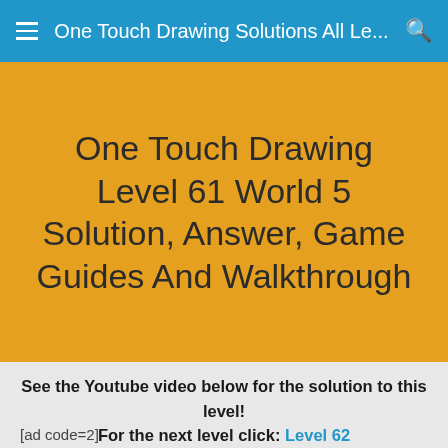One Touch Drawing Solutions All Le...
One Touch Drawing Level 61 World 5 Solution, Answer, Game Guides And Walkthrough
See the Youtube video below for the solution to this level!
For the next level click: Level 62
[ad code=2]